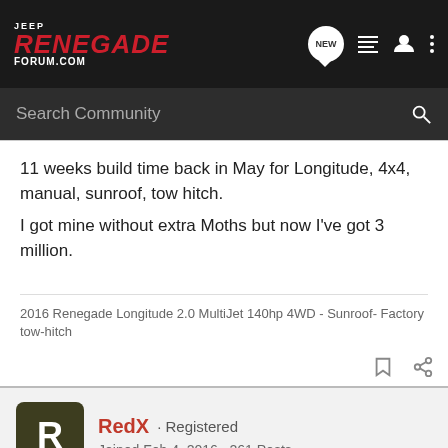JEEP RENEGADE FORUM.COM
11 weeks build time back in May for Longitude, 4x4, manual, sunroof, tow hitch.
I got mine without extra Moths but now I've got 3 million.
2016 Renegade Longitude 2.0 MultiJet 140hp 4WD - Sunroof- Factory tow-hitch
RedX · Registered
Joined Feb 4, 2016 · 261 Posts
#4 · Aug 26, 2016